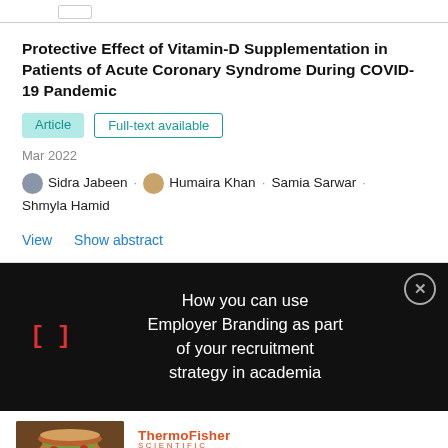Protective Effect of Vitamin-D Supplementation in Patients of Acute Coronary Syndrome During COVID-19 Pandemic
Article | Full-text available
Mar 2022
Sidra Jabeen · Humaira Khan · Samia Sarwar · Shmyla Hamid
View   Show abstract
[Figure (screenshot): Black overlay banner with red bracket icon and white text: 'How you can use Employer Branding as part of your recruitment strategy in academia', with a close button.]
[Figure (photo): Thermo Fisher Scientific advertisement showing a food photo (burger/gourmet food) with logo and tagline 'More than a matter of taste']